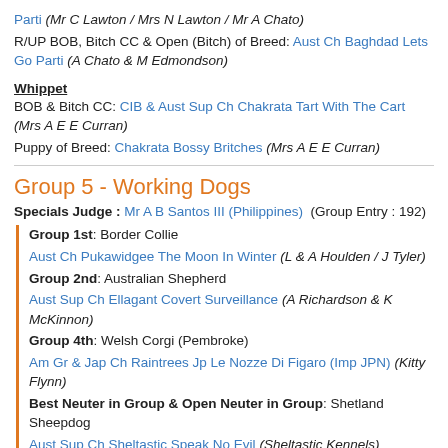Parti (Mr C Lawton / Mrs N Lawton / Mr A Chato)
R/UP BOB, Bitch CC & Open (Bitch) of Breed: Aust Ch Baghdad Lets Go Parti (A Chato & M Edmondson)
Whippet
BOB & Bitch CC: CIB & Aust Sup Ch Chakrata Tart With The Cart (Mrs A E E Curran)
Puppy of Breed: Chakrata Bossy Britches (Mrs A E E Curran)
Group 5 - Working Dogs
Specials Judge : Mr A B Santos III (Philippines)  (Group Entry : 192)
Group 1st: Border Collie
Aust Ch Pukawidgee The Moon In Winter (L & A Houlden / J Tyler)
Group 2nd: Australian Shepherd
Aust Sup Ch Ellagant Covert Surveillance (A Richardson & K McKinnon)
Group 4th: Welsh Corgi (Pembroke)
Am Gr & Jap Ch Raintrees Jp Le Nozze Di Figaro (Imp JPN) (Kitty Flynn)
Best Neuter in Group & Open Neuter in Group: Shetland Sheepdog
Aust Sup Ch Sheltastic Speak No Evil (Sheltastic Kennels)
Australian Cattle Dog